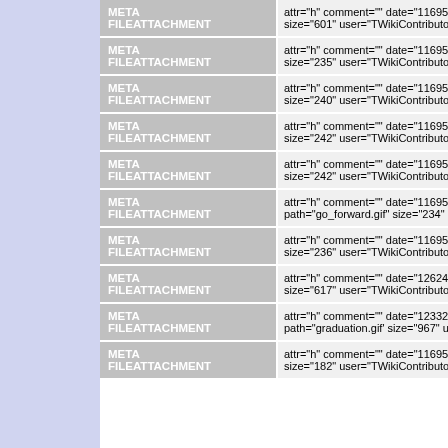| Label | Value |
| --- | --- |
| META FILEATTACHMENT | attr="h" comment="" date="11695650 size="601" user="TWikiContributor" |
| META FILEATTACHMENT | attr="h" comment="" date="1169565 size="235" user="TWikiContributor" |
| META FILEATTACHMENT | attr="h" comment="" date="1169565 size="240" user="TWikiContributor" |
| META FILEATTACHMENT | attr="h" comment="" date="1169565 size="242" user="TWikiContributor" |
| META FILEATTACHMENT | attr="h" comment="" date="1169565 size="242" user="TWikiContributor" |
| META FILEATTACHMENT | attr="h" comment="" date="1169565 path="go_forward.gif" size="234" use |
| META FILEATTACHMENT | attr="h" comment="" date="1169565 size="236" user="TWikiContributor" |
| META FILEATTACHMENT | attr="h" comment="" date="1262417 size="617" user="TWikiContributor" |
| META FILEATTACHMENT | attr="h" comment="" date="1233298 path="graduation.gif" size="967" use |
| META FILEATTACHMENT | attr="h" comment="" date="1169565 size="182" user="TWikiContributor" |